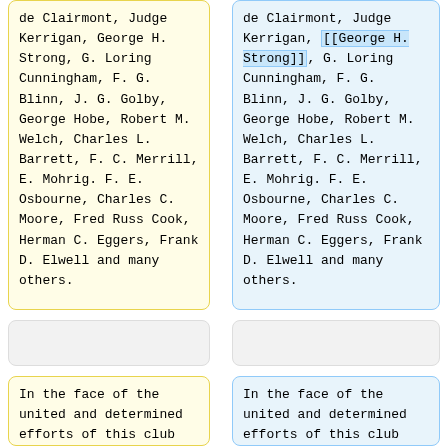de Clairmont, Judge Kerrigan, George H. Strong, G. Loring Cunningham, F. G. Blinn, J. G. Golby, George Hobe, Robert M. Welch, Charles L. Barrett, F. C. Merrill, E. Mohrig. F. E. Osbourne, Charles C. Moore, Fred Russ Cook, Herman C. Eggers, Frank D. Elwell and many others.
de Clairmont, Judge Kerrigan, [[George H. Strong]], G. Loring Cunningham, F. G. Blinn, J. G. Golby, George Hobe, Robert M. Welch, Charles L. Barrett, F. C. Merrill, E. Mohrig. F. E. Osbourne, Charles C. Moore, Fred Russ Cook, Herman C. Eggers, Frank D. Elwell and many others.
In the face of the united and determined efforts of this club the barriers of further progress in the science of
In the face of the united and determined efforts of this club the barriers of further progress in the science of